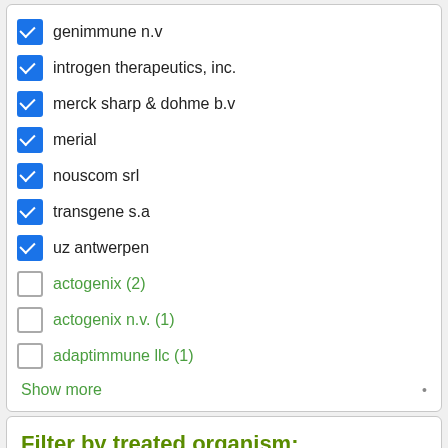genimmune n.v (checked)
introgen therapeutics, inc. (checked)
merck sharp & dohme b.v (checked)
merial (checked)
nouscom srl (checked)
transgene s.a (checked)
uz antwerpen (checked)
actogenix (2) (unchecked)
actogenix n.v. (1) (unchecked)
adaptimmune llc (1) (unchecked)
Show more
Filter by treated organism: